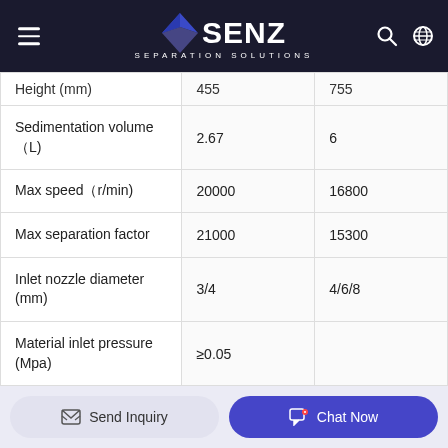SENZ SEPARATION SOLUTIONS
| Parameter | Value 1 | Value 2 |
| --- | --- | --- |
| Height (mm) | 455 | 755 |
| Sedimentation volume（L) | 2.67 | 6 |
| Max speed（r/min) | 20000 | 16800 |
| Max separation factor | 21000 | 15300 |
| Inlet nozzle diameter (mm) | 3/4 | 4/6/8 |
| Material inlet pressure (Mpa) | ≥0.05 |  |
| Capacity (Water ...) | 670 | 1600 |
Send Inquiry | Chat Now